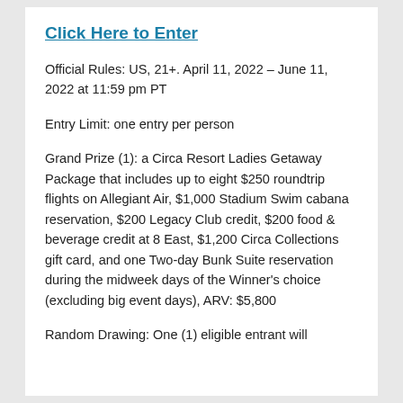Click Here to Enter
Official Rules: US, 21+. April 11, 2022 – June 11, 2022 at 11:59 pm PT
Entry Limit: one entry per person
Grand Prize (1): a Circa Resort Ladies Getaway Package that includes up to eight $250 roundtrip flights on Allegiant Air, $1,000 Stadium Swim cabana reservation, $200 Legacy Club credit, $200 food & beverage credit at 8 East, $1,200 Circa Collections gift card, and one Two-day Bunk Suite reservation during the midweek days of the Winner's choice (excluding big event days), ARV: $5,800
Random Drawing: One (1) eligible entrant will